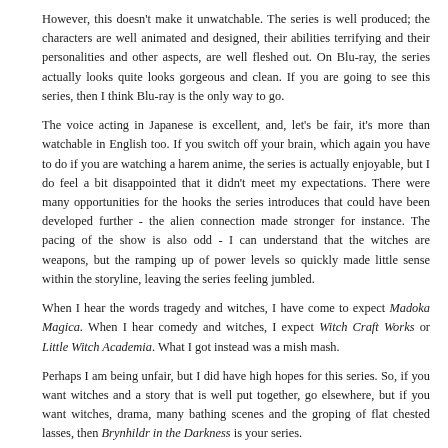However, this doesn't make it unwatchable. The series is well produced; the characters are well animated and designed, their abilities terrifying and their personalities and other aspects, are well fleshed out. On Blu-ray, the series actually looks quite looks gorgeous and clean. If you are going to see this series, then I think Blu-ray is the only way to go.
The voice acting in Japanese is excellent, and, let's be fair, it's more than watchable in English too. If you switch off your brain, which again you have to do if you are watching a harem anime, the series is actually enjoyable, but I do feel a bit disappointed that it didn't meet my expectations. There were many opportunities for the hooks the series introduces that could have been developed further - the alien connection made stronger for instance. The pacing of the show is also odd - I can understand that the witches are weapons, but the ramping up of power levels so quickly made little sense within the storyline, leaving the series feeling jumbled.
When I hear the words tragedy and witches, I have come to expect Madoka Magica. When I hear comedy and witches, I expect Witch Craft Works or Little Witch Academia. What I got instead was a mish mash.
Perhaps I am being unfair, but I did have high hopes for this series. So, if you want witches and a story that is well put together, go elsewhere, but if you want witches, drama, many bathing scenes and the groping of flat chested lasses, then Brynhildr in the Darkness is your series.